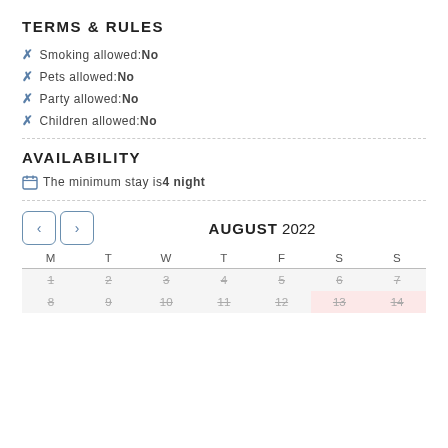TERMS & RULES
✗ Smoking allowed: No
✗ Pets allowed: No
✗ Party allowed: No
✗ Children allowed: No
AVAILABILITY
The minimum stay is 4 night
| M | T | W | T | F | S | S |
| --- | --- | --- | --- | --- | --- | --- |
| 1 | 2 | 3 | 4 | 5 | 6 | 7 |
| 8 | 9 | 10 | 11 | 12 | 13 | 14 |